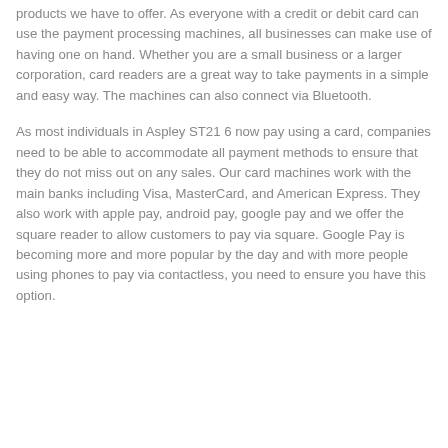products we have to offer. As everyone with a credit or debit card can use the payment processing machines, all businesses can make use of having one on hand. Whether you are a small business or a larger corporation, card readers are a great way to take payments in a simple and easy way. The machines can also connect via Bluetooth.
As most individuals in Aspley ST21 6 now pay using a card, companies need to be able to accommodate all payment methods to ensure that they do not miss out on any sales. Our card machines work with the main banks including Visa, MasterCard, and American Express. They also work with apple pay, android pay, google pay and we offer the square reader to allow customers to pay via square. Google Pay is becoming more and more popular by the day and with more people using phones to pay via contactless, you need to ensure you have this option.